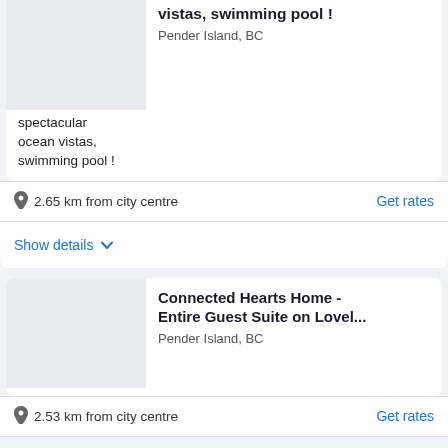spectacular ocean vistas, swimming pool !
vistas, swimming pool !
Pender Island, BC
2.65 km from city centre
Get rates
Show details
Connected Hearts Home - Entire Guest Suite on Lovel...
Pender Island, BC
2.53 km from city centre
Get rates